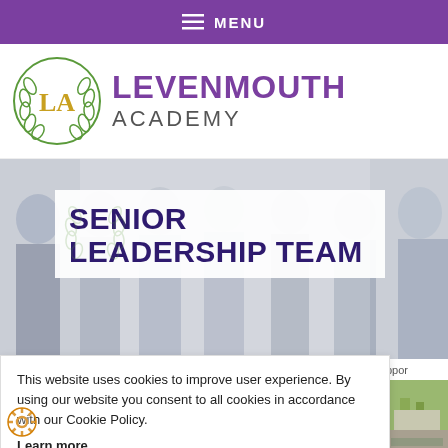MENU
[Figure (logo): Levenmouth Academy logo with gold LA letters and green laurel wreath]
LEVENMOUTH ACADEMY
[Figure (photo): Group photo of students in school uniforms against a light background]
SENIOR LEADERSHIP TEAM
This website uses cookies to improve user experience. By using our website you consent to all cookies in accordance with our Cookie Policy.
Learn more
DECLINE
ACCEPT